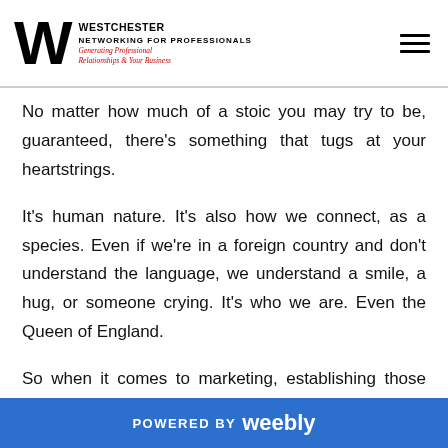Westchester Networking for Professionals — Generating Professional Relationships & Your Business
No matter how much of a stoic you may try to be, guaranteed, there's something that tugs at your heartstrings.
It's human nature. It's also how we connect, as a species. Even if we're in a foreign country and don't understand the language, we understand a smile, a hug, or someone crying. It's who we are. Even the Queen of England.
So when it comes to marketing, establishing those same types of connections will yield results. Maybe someone will get sad and change the channel, but if
POWERED BY weebly